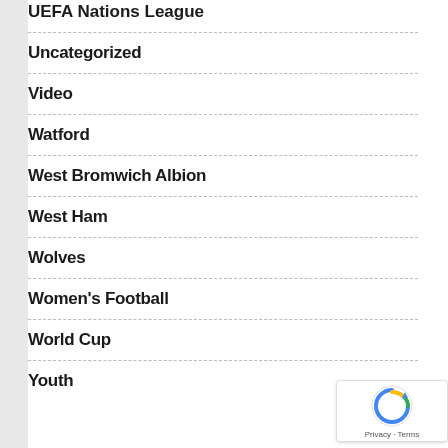UEFA Nations League
Uncategorized
Video
Watford
West Bromwich Albion
West Ham
Wolves
Women's Football
World Cup
Youth